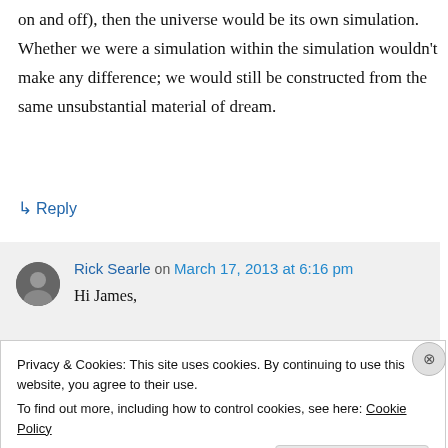on and off), then the universe would be its own simulation. Whether we were a simulation within the simulation wouldn't make any difference; we would still be constructed from the same unsubstantial material of dream.
↳ Reply
Rick Searle on March 17, 2013 at 6:16 pm
Hi James,
Privacy & Cookies: This site uses cookies. By continuing to use this website, you agree to their use.
To find out more, including how to control cookies, see here: Cookie Policy
Close and accept